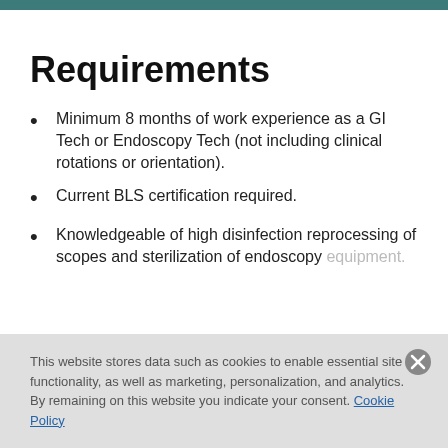Requirements
Minimum 8 months of work experience as a GI Tech or Endoscopy Tech (not including clinical rotations or orientation).
Current BLS certification required.
Knowledgeable of high disinfection reprocessing of scopes and sterilization of endoscopy equipment.
This website stores data such as cookies to enable essential site functionality, as well as marketing, personalization, and analytics. By remaining on this website you indicate your consent. Cookie Policy